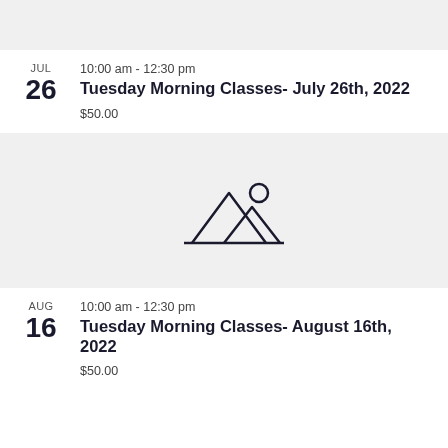[Figure (illustration): Gray placeholder image box at top of page]
10:00 am - 12:30 pm
Tuesday Morning Classes- July 26th, 2022
$50.00
[Figure (illustration): Gray placeholder image box with mountain/landscape icon in center]
10:00 am - 12:30 pm
Tuesday Morning Classes- August 16th, 2022
$50.00